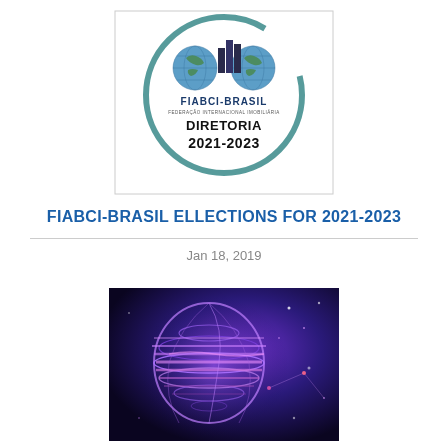[Figure (logo): FIABCI-BRASIL logo with globe and building icons, circle brush stroke, text FIABCI-BRASIL, FEDERAÇÃO INTERNACIONAL IMOBILIÁRIA, DIRETORIA 2021-2023]
FIABCI-BRASIL ELLECTIONS FOR 2021-2023
Jan 18, 2019
[Figure (photo): Digital globe illustration with purple and blue glowing lines on dark background, futuristic technology theme]